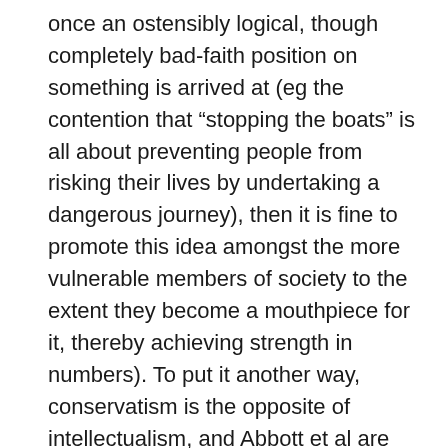once an ostensibly logical, though completely bad-faith position on something is arrived at (eg the contention that “stopping the boats” is all about preventing people from risking their lives by undertaking a dangerous journey), then it is fine to promote this idea amongst the more vulnerable members of society to the extent they become a mouthpiece for it, thereby achieving strength in numbers). To put it another way, conservatism is the opposite of intellectualism, and Abbott et al are the epitome of government-by-blind ignorance and ludditism.
I really like the concept of an apolitical protest movement with its basis in ideas, particularly as I have thought for some time that this